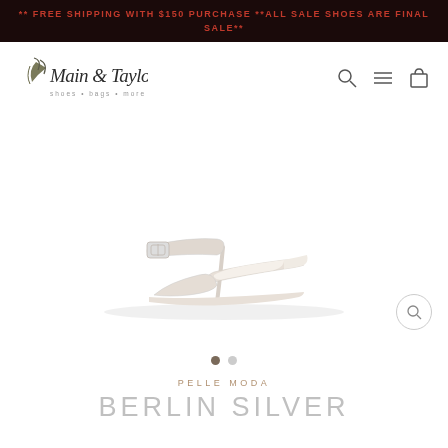** FREE SHIPPING WITH $150 PURCHASE **ALL SALE SHOES ARE FINAL SALE**
[Figure (logo): Main & Taylor shoes bags more logo with script font and tagline]
[Figure (photo): White/silver low-heeled sandal with ankle strap and buckle, open toe, on white background]
PELLE MODA
BERLIN SILVER